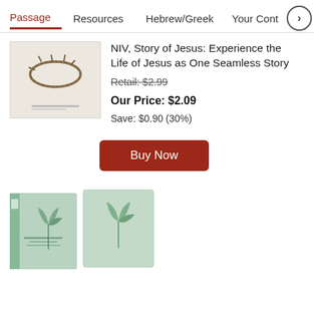Passage | Resources | Hebrew/Greek | Your Cont >
[Figure (photo): Book cover thumbnail of NIV Story of Jesus, showing a crown of thorns on a light background]
NIV, Story of Jesus: Experience the Life of Jesus as One Seamless Story
Retail: $2.99
Our Price: $2.09
Save: $0.90 (30%)
[Figure (illustration): Buy Now button — dark red/maroon rounded rectangle with white text]
[Figure (photo): Two book covers in mint/sage green with botanical leaf design — second product thumbnail at bottom of page]